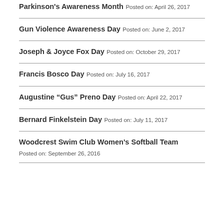Parkinson's Awareness Month
Posted on: April 26, 2017
Gun Violence Awareness Day
Posted on: June 2, 2017
Joseph & Joyce Fox Day
Posted on: October 29, 2017
Francis Bosco Day
Posted on: July 16, 2017
Augustine “Gus” Preno Day
Posted on: April 22, 2017
Bernard Finkelstein Day
Posted on: July 11, 2017
Woodcrest Swim Club Women's Softball Team
Posted on: September 26, 2016